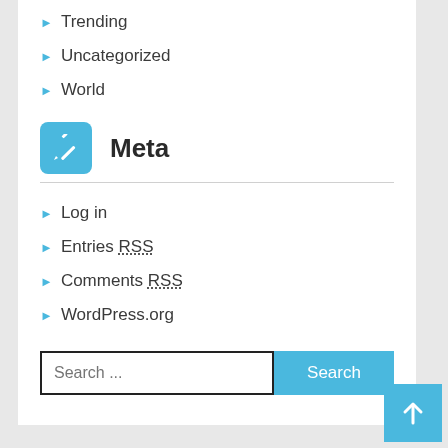Trending
Uncategorized
World
Meta
Log in
Entries RSS
Comments RSS
WordPress.org
Search ...